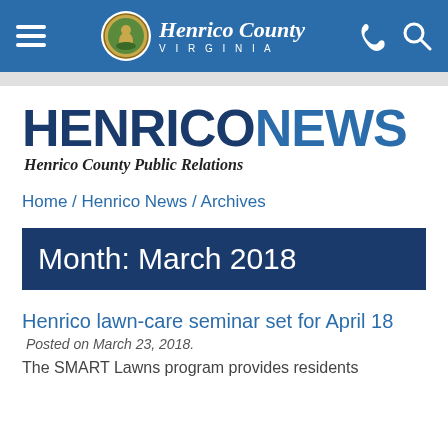Henrico County Virginia — navigation bar
[Figure (logo): Henrico County Virginia logo with seal and stylized text]
HENRICONEWS — Henrico County Public Relations
Home / Henrico News / Archives
Month: March 2018
Henrico lawn-care seminar set for April 18
Posted on March 23, 2018.
The SMART Lawns program provides residents